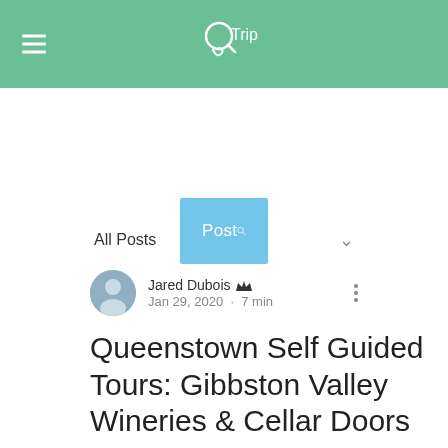QTrip logo with hamburger menu
Post
All Posts
Jared Dubois  Admin · Jan 29, 2020 · 7 min
Queenstown Self Guided Tours: Gibbston Valley Wineries & Cellar Doors